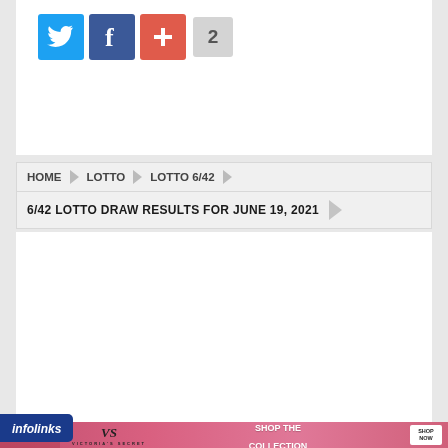[Figure (screenshot): Social share buttons: Twitter (blue bird icon), Facebook (dark blue f icon), plus/add button (red-orange), and share count badge showing '2']
HOME > LOTTO > LOTTO 6/42
6/42 LOTTO DRAW RESULTS FOR JUNE 19, 2021
[Figure (screenshot): Infolinks badge and Victoria's Secret advertisement banner: 'SHOP THE COLLECTION' with SHOP NOW button]